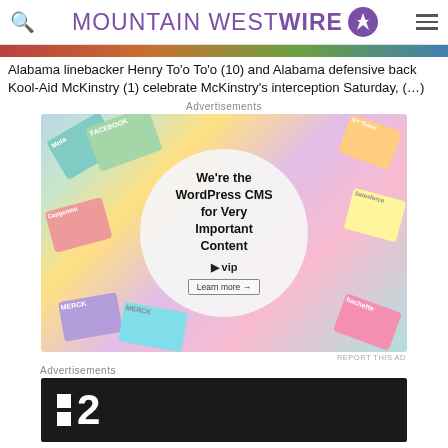MOUNTAIN WEST WIRE
Alabama linebacker Henry To'o To'o (10) and Alabama defensive back Kool-Aid McKinstry (1) celebrate McKinstry's interception Saturday, (…)
Advertisements
[Figure (infographic): WordPress VIP advertisement showing colorful brand cards in background with a white circle in center reading 'We're the WordPress CMS for Very Important Content' with WP VIP logo and Learn more button]
REPORT THIS AD
Advertisements
[Figure (logo): Black advertisement banner with white squares logo and number 2, resembling a media brand logo]